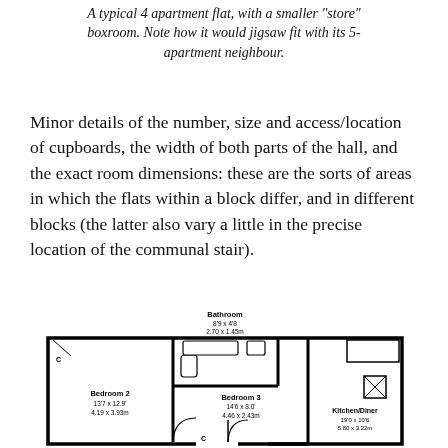A typical 4 apartment flat, with a smaller "store" boxroom. Note how it would jigsaw fit with its 5-apartment neighbour.
Minor details of the number, size and access/location of cupboards, the width of both parts of the hall, and the exact room dimensions: these are the sorts of areas in which the flats within a block differ, and in different blocks (the latter also vary a little in the precise location of the communal stair).
[Figure (engineering-diagram): Floor plan of a typical 4-apartment flat showing Bathroom (8'9 x 4'8, 2.70 x 1.45m), Bedroom 2 (13'7 x 12'9, 4.19 x 3.93m), Bedroom 3 (14'6 x 8.0', 4.46 x 2.43m), and Kitchen/Diner (19'0 x 10'6, 5.80 x 3.22m) with cupboard markers (C) and door swings.]